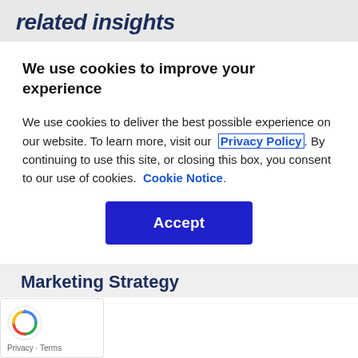related insights
We use cookies to improve your experience
We use cookies to deliver the best possible experience on our website. To learn more, visit our  Privacy Policy . By continuing to use this site, or closing this box, you consent to our use of cookies.  Cookie Notice .
[Figure (other): Accept button — a large dark blue rectangular button with white bold text 'Accept']
Marketing Strategy
[Figure (other): reCAPTCHA badge with spinning arrows logo and 'Privacy · Terms' text]